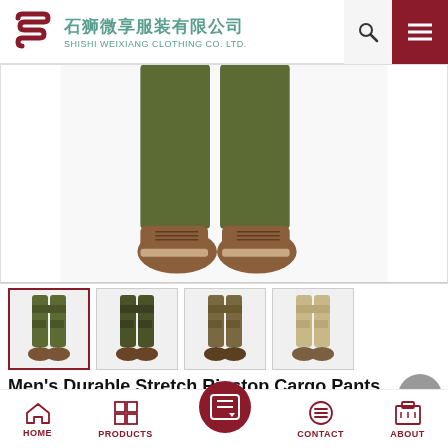石狮微享服装有限公司 SHISHI WEIXIANG CLOTHING CO. LTD.
[Figure (photo): Lower body photo of a person wearing olive green cargo pants and brown leather shoes, cropped at mid-thigh level]
[Figure (photo): Four thumbnail images of cargo pants in different colors: olive green (active/selected), dark olive, brown, and khaki/tan]
Men's Durable Stretch Ripstop Cargo Pants
These stretch-resistant ripstop cargo pants are designed with hard work as the concept and are durable. It is made of 93% tear-resistant...
HOME  PRODUCTS  CONTACT  ABOUT